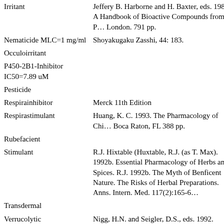| Activity | Reference |
| --- | --- |
| Irritant | Jeffery B. Harborne and H. Baxter, eds. 1983. A Handbook of Bioactive Compounds from Plants. Taylor & Frost, London. 791 pp. |
| Nematicide MLC=1 mg/ml | Shoyakugaku Zasshi, 44: 183. |
| Occuloirritant |  |
| P450-2B1-Inhibitor IC50=7.89 uM |  |
| Pesticide |  |
| Respirainhibitor | Merck 11th Edition |
| Respirastimulant | Huang, K. C. 1993. The Pharmacology of Chinese Herbs. CRC Press, Boca Raton, FL 388 pp. |
| Rubefacient |  |
| Stimulant | R.J. Hixtable (Huxtable, R.J. (as T. Max). 1992b. Essential Pharmacology of Herbs and Spices. R.J. 1992b. The Myth of Benficent Nature. The Risks of Herbal Preparations. Anns. Intern. Med. 117(2):165-6 |
| Transdermal |  |
| Verrucolytic | Nigg, H.N. and Seigler, D.S., eds. 1992. Phytochemical Resources for Medicine and Agriculture. Plenum Press, New York. 445 pp. |
| Vibriocide 500 ug/ml | Wealth of India. |